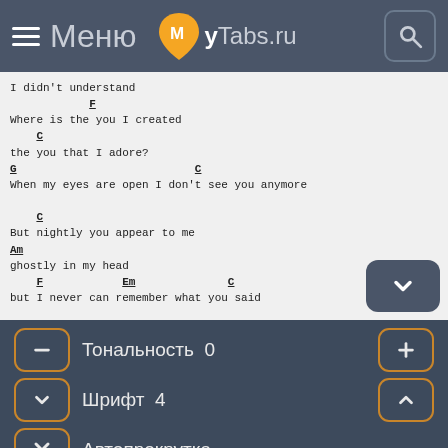≡ Меню  MyTabs.ru
I didn't understand
            F
Where is the you I created
    C
the you that I adore?
G                           C
When my eyes are open I don't see you anymore

    C
But nightly you appear to me
Am
ghostly in my head
    F            Em              C
but I never can remember what you said

F C G C (x4)

End on C
Тональность  0
Шрифт  4
Автопрокрутка